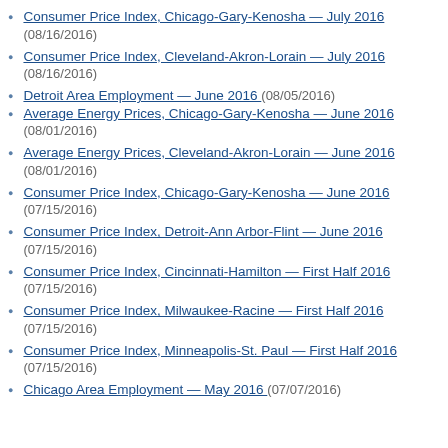Consumer Price Index, Chicago-Gary-Kenosha — July 2016 (08/16/2016)
Consumer Price Index, Cleveland-Akron-Lorain — July 2016 (08/16/2016)
Detroit Area Employment — June 2016 (08/05/2016)
Average Energy Prices, Chicago-Gary-Kenosha — June 2016 (08/01/2016)
Average Energy Prices, Cleveland-Akron-Lorain — June 2016 (08/01/2016)
Consumer Price Index, Chicago-Gary-Kenosha — June 2016 (07/15/2016)
Consumer Price Index, Detroit-Ann Arbor-Flint — June 2016 (07/15/2016)
Consumer Price Index, Cincinnati-Hamilton — First Half 2016 (07/15/2016)
Consumer Price Index, Milwaukee-Racine — First Half 2016 (07/15/2016)
Consumer Price Index, Minneapolis-St. Paul — First Half 2016 (07/15/2016)
Chicago Area Employment — May 2016 (07/07/2016)